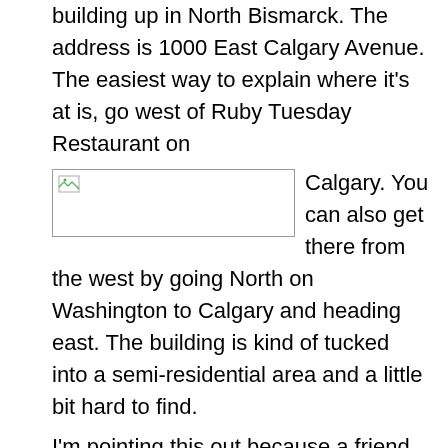building up in North Bismarck. The address is 1000 East Calgary Avenue. The easiest way to explain where it's at is, go west of Ruby Tuesday Restaurant on Calgary. You can also get there from the west by going North on Washington to Calgary and heading east. The building is kind of tucked into a semi-residential area and a little bit hard to find.
[Figure (photo): Broken image placeholder - a small image that failed to load, shown as a rectangle with a broken image icon in the top-left corner.]
I'm pointing this out because a friend of mine who knows about this stuff says this could end up being the subject of a lawsuit if XTO gets the permit, a suit between the state and federal government, or a civil